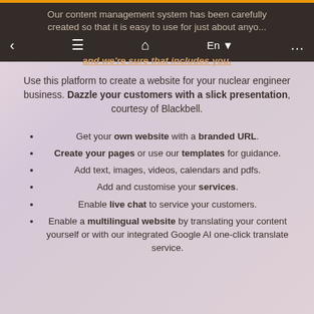Our content management system has been carefully created so that it is easy to use for just about anyone, and we're sure that includes you.
Use this platform to create a website for your nuclear engineer business. Dazzle your customers with a slick presentation, courtesy of Blackbell.
Get your own website with a branded URL.
Create your pages or use our templates for guidance.
Add text, images, videos, calendars and pdfs.
Add and customise your services.
Enable live chat to service your customers.
Enable a multilingual website by translating your content yourself or with our integrated Google AI one-click translate service.